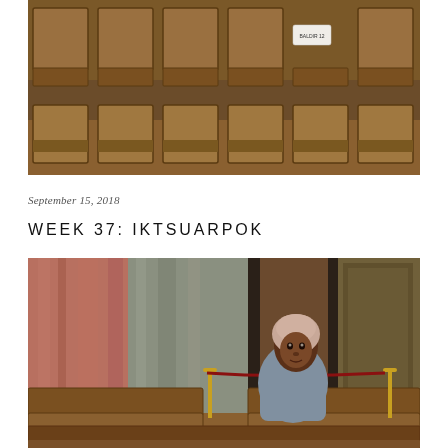[Figure (photo): Rows of empty wooden chairs/pews in a church or assembly hall, photographed from above at an angle. A small white label is visible on one chair. Warm brown tones.]
September 15, 2018
WEEK 37: IKTSUARPOK
[Figure (photo): A woman wearing a light pink/white head wrap and grey jacket sits among rows of wooden pews in a grand hall. She is looking back over her shoulder at the camera. Behind her are marble columns in red and grey-green, and an ornate dark wall panel. Gold rope barriers are visible.]